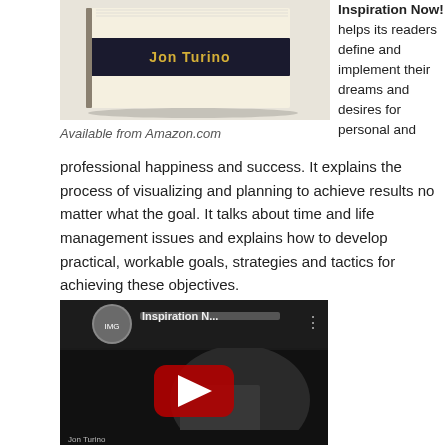[Figure (photo): Book cover image showing a book with a dark spine/band with the name 'Jon Turino' in gold text on a cream/beige background]
Available from Amazon.com
Inspiration Now! helps its readers define and implement their dreams and desires for personal and professional happiness and success. It explains the process of visualizing and planning to achieve results no matter what the goal. It talks about time and life management issues and explains how to develop practical, workable goals, strategies and tactics for achieving these objectives.
[Figure (screenshot): YouTube video thumbnail showing 'Inspiration N...' with a play button, dark background with a person visible]